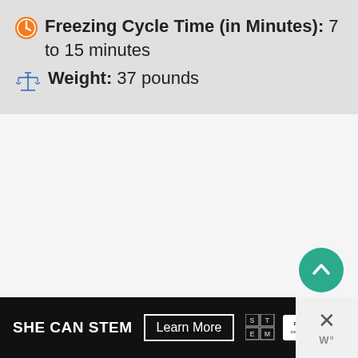Freezing Cycle Time (in Minutes): 7 to 15 minutes
Weight: 37 pounds
[Figure (other): Scroll-to-top button: teal circular button with upward chevron arrow]
[Figure (other): Advertisement banner: SHE CAN STEM - Learn More, Ad Council logo, STEM logo on dark background with close button]